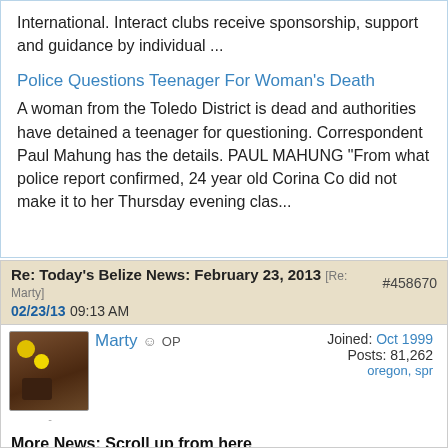International. Interact clubs receive sponsorship, support and guidance by individual ...
Police Questions Teenager For Woman's Death
A woman from the Toledo District is dead and authorities have detained a teenager for questioning. Correspondent Paul Mahung has the details. PAUL MAHUNG "From what police report confirmed, 24 year old Corina Co did not make it to her Thursday evening clas...
Re: Today's Belize News: February 23, 2013 [Re: Marty] #458670
02/23/13 09:13 AM
Marty ☺ OP   Joined: Oct 1999   Posts: 81,262   oregon, spr
More News: Scroll up from here
LOVE TV
Civilians pledge to clean the Belize border with Guatemala
The referendum on whether or not to take